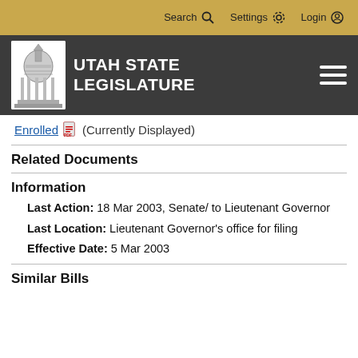Search  Settings  Login
[Figure (logo): Utah State Legislature logo with capitol building icon and text 'UTAH STATE LEGISLATURE' on dark background with hamburger menu icon]
Enrolled (Currently Displayed)
Related Documents
Information
Last Action: 18 Mar 2003, Senate/ to Lieutenant Governor
Last Location: Lieutenant Governor's office for filing
Effective Date: 5 Mar 2003
Similar Bills